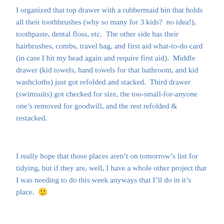I organized that top drawer with a rubbermaid bin that holds all their toothbrushes (why so many for 3 kids?  no idea!), toothpaste, dental floss, etc.  The other side has their hairbrushes, combs, travel bag, and first aid what-to-do card (in case I hit my head again and require first aid).  Middle drawer (kid towels, hand towels for that bathroom, and kid washcloths) just got refolded and stacked.  Third drawer (swimsuits) got checked for size, the too-small-for-anyone one's removed for goodwill, and the rest refolded & restacked.
I really hope that those places aren't on tomorrow's list for tidying, but if they are, well, I have a whole other project that I was needing to do this week anyways that I'll do in it's place. 🙂